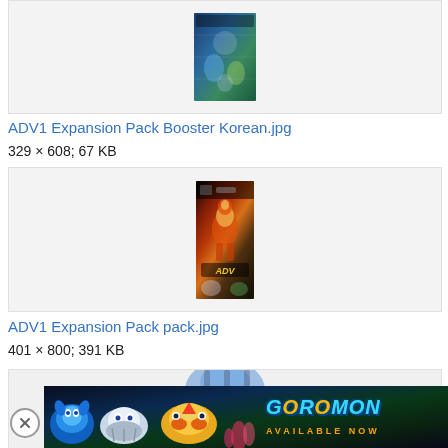[Figure (photo): Thumbnail of ADV1 Expansion Pack Booster Korean card pack image, centered in a light gray bordered box]
ADV1 Expansion Pack Booster Korean.jpg
329 × 608; 67 KB
[Figure (photo): Thumbnail of ADV1 Expansion Pack pack.jpg, taller booster pack image centered in a light gray bordered box]
ADV1 Expansion Pack pack.jpg
401 × 800; 391 KB
[Figure (photo): Partial view of another image in a gray bordered box, partially obscured by Coromon advertisement banner]
[Figure (other): Coromon advertisement banner with close button (X), showing colorful creature illustrations on left and Coromon logo with 'AVAILABLE NOW' text on right, dark background]